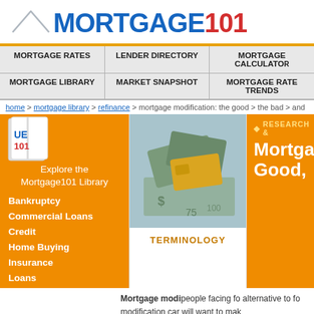[Figure (logo): Mortgage101 logo with house icon, blue 'MORTGAGE' text and red '101' text]
MORTGAGE RATES | LENDER DIRECTORY | MORTGAGE CALCULATOR | MORTGAGE LIBRARY | MARKET SNAPSHOT | MORTGAGE RATE TRENDS
home > mortgage library > refinance > mortgage modification: the good > the bad > and
[Figure (screenshot): Mortgage101 library sidebar with orange background showing Explore the Mortgage101 Library with links: Bankruptcy, Commercial Loans, Credit, Home Buying, Insurance, Loans]
[Figure (photo): Photo of money/dollar bills and credit card]
TERMINOLOGY
[Figure (screenshot): Orange panel with RESEARCH & heading and 'Mortga Good,' partial title visible]
Mortgage modi people facing fo alternative to fo modification car will want to mak